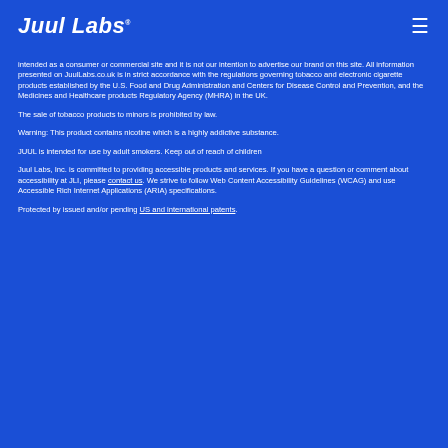Juul Labs
intended as a consumer or commercial site and it is not our intention to advertise our brand on this site. All information presented on JuulLabs.co.uk is in strict accordance with the regulations governing tobacco and electronic cigarette products established by the U.S. Food and Drug Administration and Centers for Disease Control and Prevention, and the Medicines and Healthcare products Regulatory Agency (MHRA) in the UK.
The sale of tobacco products to minors is prohibited by law.
Warning: This product contains nicotine which is a highly addictive substance.
JUUL is intended for use by adult smokers. Keep out of reach of children
Juul Labs, Inc. is committed to providing accessible products and services. If you have a question or comment about accessibility at JLI, please contact us. We strive to follow Web Content Accessibility Guidelines (WCAG) and use Accessible Rich Internet Applications (ARIA) specifications.
Protected by issued and/or pending US and international patents.